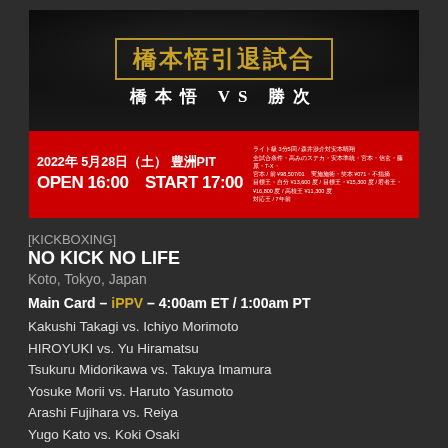[Figure (photo): Event poster for No Kick No Life kickboxing event featuring 橋本悟引退試合 (Hashimoto Satoru Retirement Match) - 橋本悟 VS 勝次. Event date: 2022年5月28日(土) 豊洲PIT, OPEN 16:00 START 17:00. Black and red design with Japanese text and gold lettering.]
[KICKBOXING]
NO KICK NO LIFE
Koto, Tokyo, Japan
Main Card – iPPV – 4:00am ET / 1:00am PT
Kakushi Takagi vs. Ichiyo Morimoto
HIROYUKI vs. Yu Hiramatsu
Tsukuru Midorikawa vs. Takuya Imamura
Yosuke Morii vs. Haruto Yasumoto
Arashi Fujihara vs. Reiya
Yugo Kato vs. Koki Osaki